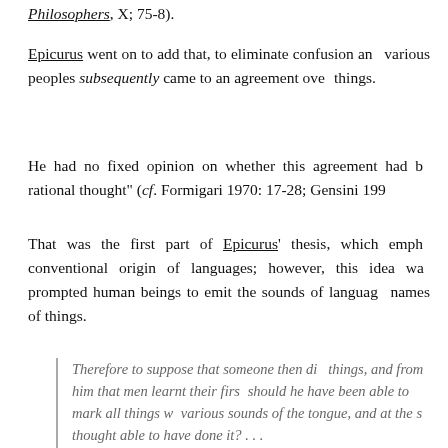Philosophers, X; 75-8).
Epicurus went on to add that, to eliminate confusion and various peoples subsequently came to an agreement over things.
He had no fixed opinion on whether this agreement had been rational thought" (cf. Formigari 1970: 17-28; Gensini 199…
That was the first part of Epicurus' thesis, which emphasized the conventional origin of languages; however, this idea was prompted human beings to emit the sounds of language as names of things.
Therefore to suppose that someone then distributed names to things, and from him that men learnt their first words, is sheer folly. For how should he have been able to mark all things with vocal sounds and to utter the various sounds of the tongue, and at the same time others to be supposed thought able to have done it? . . .
Therefore if it is the various sensations that prompt animals to emit differing sounds, men the…